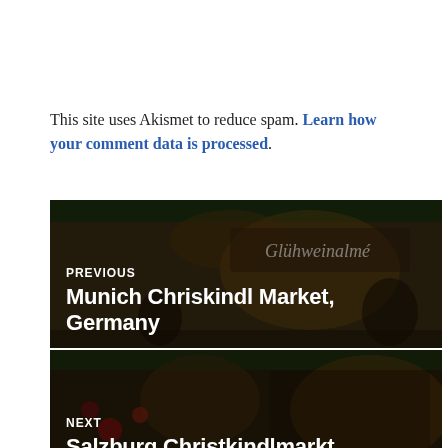This site uses Akismet to reduce spam. Learn how your comment data is processed.
[Figure (photo): Dark photo of a Christmas market stall (Glühweinalmé sign visible) with greenery decoration, overlaid with navigation text: PREVIOUS — Munich Chriskindl Market, Germany]
[Figure (photo): Dark photo of a Christmas market scene with ornaments and decorations, overlaid with navigation text: NEXT — Salzburg Christkindlmarkt, Austria]